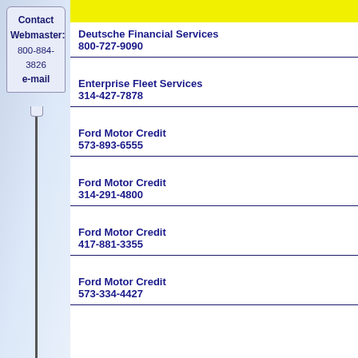Contact Webmaster:
800-884-3826
e-mail
Deutsche Financial Services
800-727-9090
Enterprise Fleet Services
314-427-7878
Ford Motor Credit
573-893-6555
Ford Motor Credit
314-291-4800
Ford Motor Credit
417-881-3355
Ford Motor Credit
573-334-4427
GMAC Home Services
417-890-7774
DISCOUNT RV USA: Misso... best rate rv finance, motor travel trailer loans, camper f loans, rv loan refinance, best are all the resources you wi